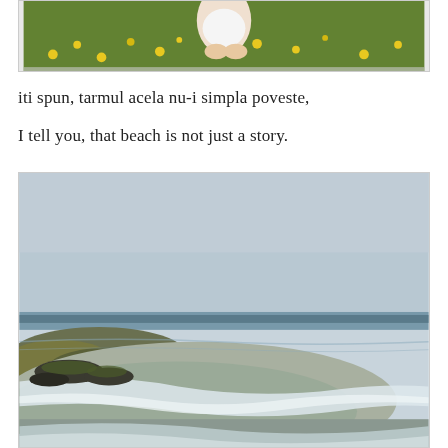[Figure (photo): Top portion of a photo showing a person sitting among green foliage and yellow flowers, cropped at the top of the page]
iti spun, tarmul acela nu-i simpla poveste,
I tell you, that beach is not just a story.
[Figure (photo): Beach scene with calm water washing onto a rocky/sandy shoreline, with a pale blue-grey sky above and dark rocks with green patches visible on the left side]